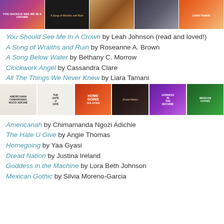[Figure (photo): Row of five book covers: You Should See Me In A Crown, A Song of Wraiths and Ruin, A Song Below Water, an unidentified cover, and All The Things We Never Knew by Liara Tamani]
You Should See Me In A Crown by Leah Johnson (read and loved!)
A Song of Wraiths and Ruin by Roseanne A. Brown
A Song Below Water by Bethany C. Morrow
Clockwork Angel by Cassandra Clare
All The Things We Never Knew by Liara Tamani
[Figure (photo): Row of six book covers: Americanah by Chimamanda Ngozi Adichie, The Hate U Give by Angie Thomas, Homegoing by Yaa Gyasi, Dread Nation by Justina Ireland, Goddess in the Machine by Lora Beth Johnson, Mexican Gothic by Silvia Moreno-Garcia]
Americanah by Chimamanda Ngozi Adichie
The Hate U Give by Angie Thomas
Homegoing by Yaa Gyasi
Dread Nation by Justina Ireland
Goddess in the Machine by Lora Beth Johnson
Mexican Gothic by Silvia Moreno-Garcia